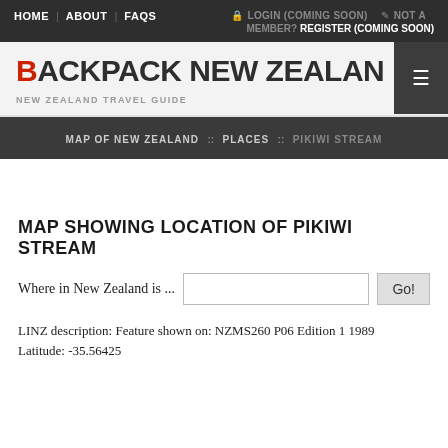HOME | ABOUT | FAQS | LOGIN (COMING SOON) | NOT A MEMBER? REGISTER (COMING SOON)
BACKPACK NEW ZEALAND
NEW ZEALAND TRAVEL GUIDE
MAP OF NEW ZEALAND :: PLACES :: PIKIWI STREAM
MAP SHOWING LOCATION OF PIKIWI STREAM
Where in New Zealand is ...
LINZ description: Feature shown on: NZMS260 P06 Edition 1 1989
Latitude: -35.56425